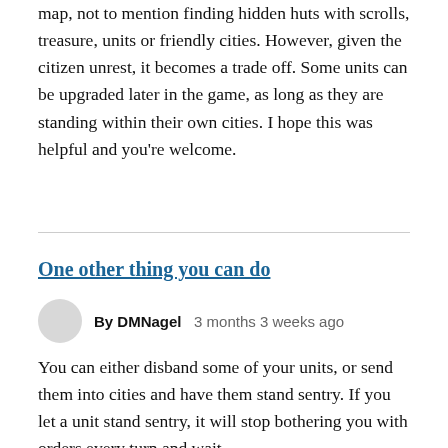map, not to mention finding hidden huts with scrolls, treasure, units or friendly cities. However, given the citizen unrest, it becomes a trade off. Some units can be upgraded later in the game, as long as they are standing within their own cities. I hope this was helpful and you're welcome.
One other thing you can do
By DMNagel   3 months 3 weeks ago
You can either disband some of your units, or send them into cities and have them stand sentry. If you let a unit stand sentry, it will stop bothering you with orders every turn and wait